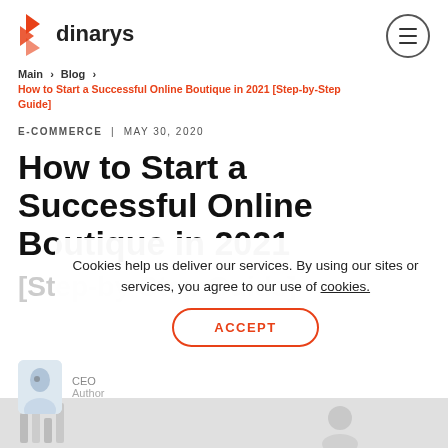[Figure (logo): Dinarys logo with orange flame icon and bold text 'dinarys']
[Figure (other): Hamburger menu button inside a circle]
Main  >  Blog  >
How to Start a Successful Online Boutique in 2021 [Step-by-Step Guide]
E-COMMERCE  |  MAY 30, 2020
How to Start a Successful Online Boutique in 2021
[Step-by-Step Guide]
Cookies help us deliver our services. By using our sites or services, you agree to our use of cookies.
ACCEPT
CEO
Author